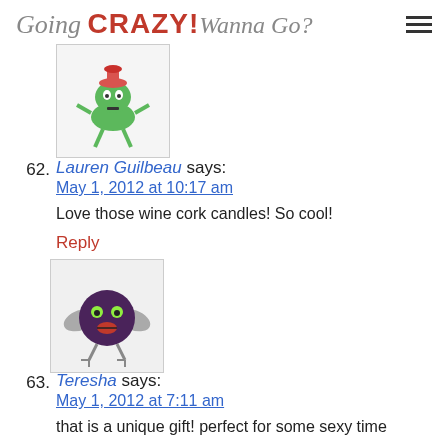Going CRAZY! Wanna Go?
[Figure (illustration): Avatar image of a cartoon alien-like green creature with a pink hat]
62. Lauren Guilbeau says: May 1, 2012 at 10:17 am
Love those wine cork candles! So cool!
Reply
[Figure (illustration): Avatar image of a cartoon dark round bird-like creature]
63. Teresha says: May 1, 2012 at 7:11 am
that is a unique gift! perfect for some sexy time
Teresha recently posted..FuzziBunz Elite OS Pocket Diaper Give Away Sponsored by Thanks Mama #ClothDiaperHop
My Reply